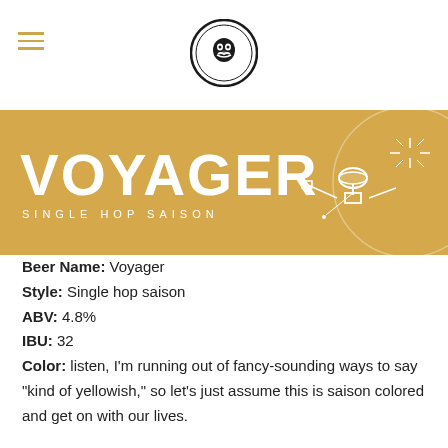[Figure (logo): Circular brewery logo with skull/face illustration in center, dark border with text around circumference]
VOYAGER
SINGLE HOP SAISON
[Figure (illustration): Voyager space probe illustration in white lines on golden yellow background with circular planet/moon shape]
Beer Name: Voyager
Style: Single hop saison
ABV: 4.8%
IBU: 32
Color: listen, I'm running out of fancy-sounding ways to say "kind of yellowish," so let's just assume this is saison colored and get on with our lives.